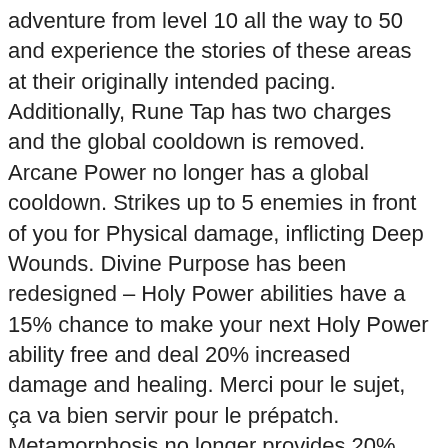adventure from level 10 all the way to 50 and experience the stories of these areas at their originally intended pacing. Additionally, Rune Tap has two charges and the global cooldown is removed. Arcane Power no longer has a global cooldown. Strikes up to 5 enemies in front of you for Physical damage, inflicting Deep Wounds. Divine Purpose has been redesigned – Holy Power abilities have a 15% chance to make your next Holy Power ability free and deal 20% increased damage and healing. Merci pour le sujet, ça va bien servir pour le prépatch. Metamorphosis no longer provides 20% Leech. Mark of Blood has had its Runic Power cost removed and healing increased to 3% (was 2%). Fel Devastation is no longer a Talent and will be learned by all Vengeance Demon Hunters at level 11. Voici toutefois le contenu de cet événement mondial : Chacune des 12 classes et des 36 spécialisations de World of Warcraft subissent de lourds changements dans leur style de jeu, certaines plus que d'autres. You can no longer champion a Mists of Pandaria faction for bonus reputation. Damage increased by 175% to targets below 20% health. Player spells have been rearranged in the Spellbook. Shadow Blades no